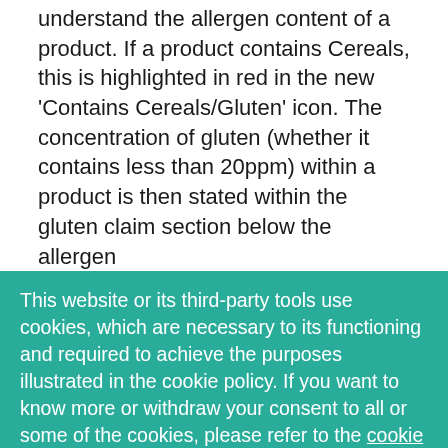understand the allergen content of a product. If a product contains Cereals, this is highlighted in red in the new ‘Contains Cereals/Gluten’ icon. The concentration of gluten (whether it contains less than 20ppm) within a product is then stated within the gluten claim section below the allergen
This website or its third-party tools use cookies, which are necessary to its functioning and required to achieve the purposes illustrated in the cookie policy. If you want to know more or withdraw your consent to all or some of the cookies, please refer to the cookie policy. By continuing to browse you agree to the use of cookies.
I understand